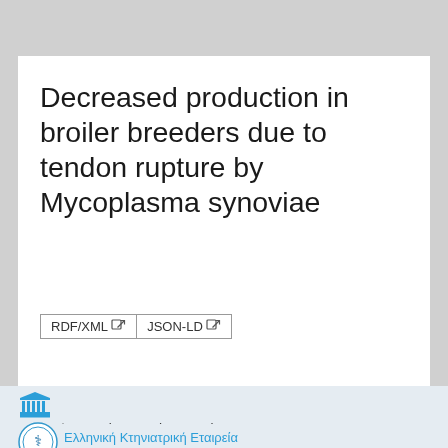Decreased production in broiler breeders due to tendon rupture by Mycoplasma synoviae
RDF/XML  JSON-LD
[Figure (logo): Blue Greek temple/institution icon]
Το τεκμήριο παρέχεται από τον φορέα :
[Figure (logo): Circular logo of Ελληνική Κτηνιατρική Εταιρεία with caduceus emblem]
Ελληνική Κτηνιατρική Εταιρεία
Αποθετήριο :
Journal of the Hellenic Veterinary Medical Society  | ΕΚΤ